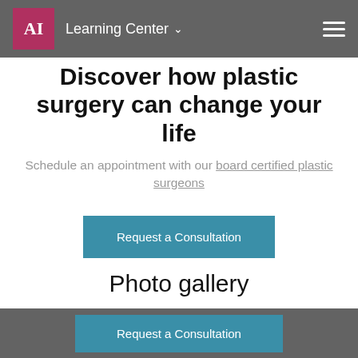AI  Learning Center
Discover how plastic surgery can change your life
Schedule an appointment with our board certified plastic surgeons
Request a Consultation
Photo gallery
[Figure (photo): Blurred/obscured before-and-after photo gallery image]
Request a Consultation